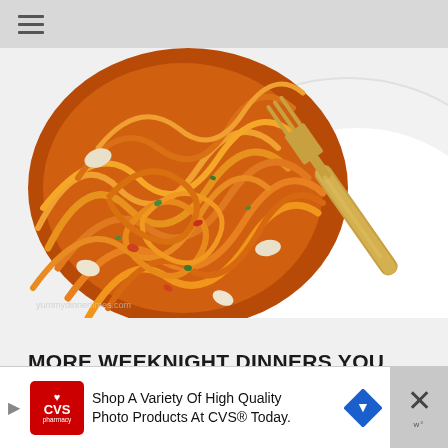[Figure (photo): Close-up photo of spaghetti pasta with tomato sauce on a white plate, with a gold/brass fork resting on the right side of the plate. Small garlic cloves and herbs visible among the noodles.]
MORE WEEKNIGHT DINNERS YOU WILL LOVE
Lemon Shrimp pasta with lentils...
[Figure (infographic): Advertisement banner for CVS pharmacy: 'Shop A Variety Of High Quality Photo Products At CVS® Today.' with CVS logo, directional arrow icon, and a close button with X.]